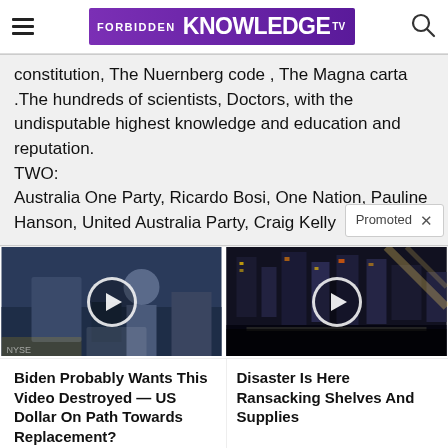FORBIDDEN KNOWLEDGE TV
constitution, The Nuernberg code , The Magna carta .The hundreds of scientists, Doctors, with the undisputable highest knowledge and education and reputation.
TWO:
Australia One Party, Ricardo Bosi, One Nation, Pauline Hanson, United Australia Party, Craig Kelly
[Figure (screenshot): Two video thumbnails side by side. Left: person in dark studio setting with NYSE background. Right: nighttime city street scene (Times Square area). Both have circular play buttons overlaid.]
Biden Probably Wants This Video Destroyed — US Dollar On Path Towards Replacement?
Watch The Video
Disaster Is Here Ransacking Shelves And Supplies
Watch The Video